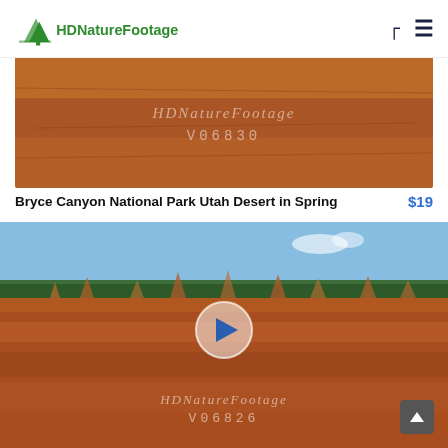HDNatureFootage
[Figure (screenshot): Video thumbnail of Bryce Canyon National Park Utah desert showing red/orange rock formations with HDNatureFootage watermark and code V06830]
Bryce Canyon National Park Utah Desert in Spring $19
[Figure (screenshot): Video thumbnail of Bryce Canyon National Park showing panoramic view with sky, forest ridge, and hoodoos rock formations with play button overlay and HDNatureFootage watermark and code V06826]